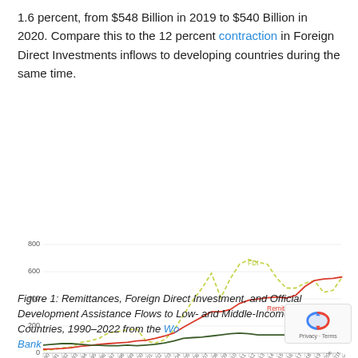1.6 percent, from $548 Billion in 2019 to $540 Billion in 2020. Compare this to the 12 percent contraction in Foreign Direct Investments inflows to developing countries during the same time.
[Figure (line-chart): Remittances, Foreign Direct Investment, and Official Development Assistance Flows to Low- and Middle-Income Countries, 1990–2022]
Figure 1: Remittances, Foreign Direct Investment, and Official Development Assistance Flows to Low- and Middle-Income Countries, 1990–2022 from the World Bank